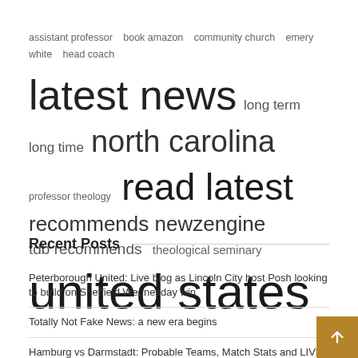[Figure (infographic): Tag cloud featuring terms: assistant professor, book amazon, community church, emery white, head coach, latest news (largest), long term, long time, north carolina, professor theology, read latest (large), recommends newzengine, tdb recommends, theological seminary, united states (largest)]
Recent Posts
Peterborough United: Live blog as Lincoln City host Posh looking to build on Sheffield Wednesday win
Totally Not Fake News: a new era begins
Hamburg vs Darmstadt: Probable Teams, Match Stats and LIVE Blog!
European Championships 2022 | MAG Senior All-Around Live Blog